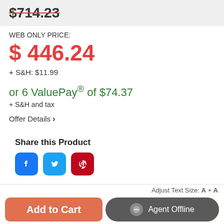$714.23 (strikethrough)
WEB ONLY PRICE:
$446.24
+ S&H: $11.99
or 6 ValuePay® of $74.37
+ S&H and tax
Offer Details ›
Share this Product
[Figure (infographic): Social share icons: Facebook, Twitter, Pinterest]
Adjust Text Size: A + A
Add to Cart
Agent Offline